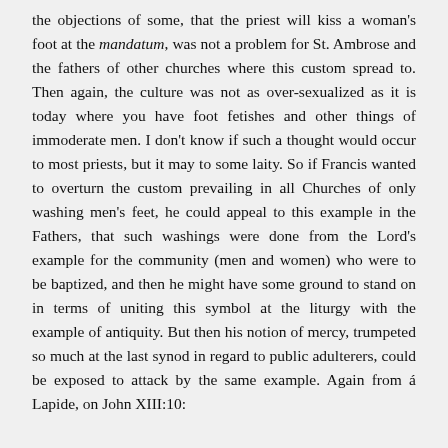the objections of some, that the priest will kiss a woman's foot at the mandatum, was not a problem for St. Ambrose and the fathers of other churches where this custom spread to. Then again, the culture was not as over-sexualized as it is today where you have foot fetishes and other things of immoderate men. I don't know if such a thought would occur to most priests, but it may to some laity. So if Francis wanted to overturn the custom prevailing in all Churches of only washing men's feet, he could appeal to this example in the Fathers, that such washings were done from the Lord's example for the community (men and women) who were to be baptized, and then he might have some ground to stand on in terms of uniting this symbol at the liturgy with the example of antiquity. But then his notion of mercy, trumpeted so much at the last synod in regard to public adulterers, could be exposed to attack by the same example. Again from á Lapide, on John XIII:10: